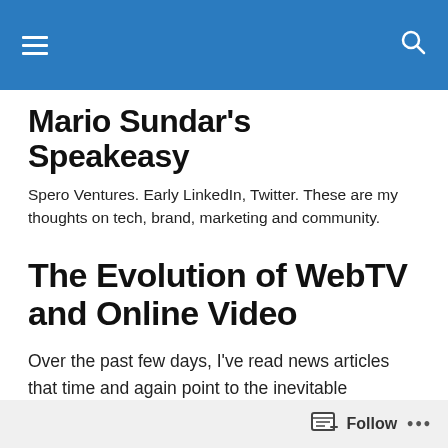Mario Sundar's Speakeasy — navigation header bar
Mario Sundar's Speakeasy
Spero Ventures. Early LinkedIn, Twitter. These are my thoughts on tech, brand, marketing and community.
The Evolution of WebTV and Online Video
Over the past few days, I've read news articles that time and again point to the inevitable evolution of online video. What started as a news ripple with the YouTube acquisition is slowly turning into a definite sign of the
Follow